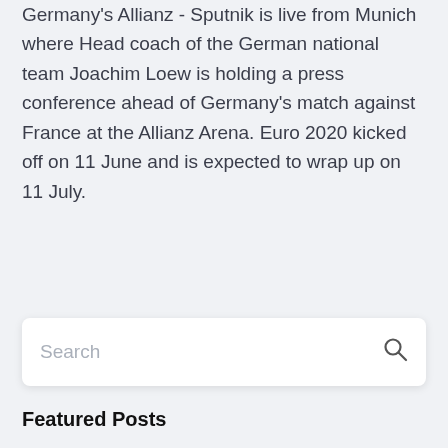Germany's Allianz - Sputnik is live from Munich where Head coach of the German national team Joachim Loew is holding a press conference ahead of Germany's match against France at the Allianz Arena. Euro 2020 kicked off on 11 June and is expected to wrap up on 11 July.
Search
Featured Posts